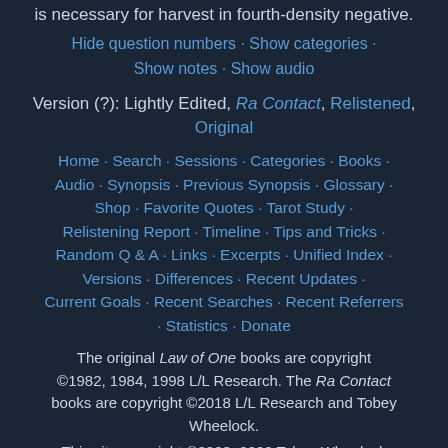is necessary for harvest in fourth-density negative.
Hide question numbers · Show categories · Show notes · Show audio
Version (?): Lightly Edited, Ra Contact, Relistened, Original
Home · Search · Sessions · Categories · Books · Audio · Synopsis · Previous Synopsis · Glossary · Shop · Favorite Quotes · Tarot Study · Relistening Report · Timeline · Tips and Tricks · Random Q & A · Links · Excerpts · Unified Index · Versions · Differences · Recent Updates · Current Goals · Recent Searches · Recent Referrers · Statistics · Donate
The original Law of One books are copyright ©1982, 1984, 1998 L/L Research. The Ra Contact books are copyright ©2018 L/L Research and Tobey Wheelock.
This site copyright ©2003–2022 Tobey Wheelock